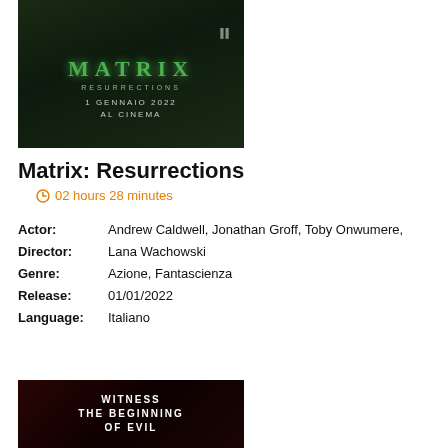[Figure (photo): Matrix Resurrections movie poster showing dark green-tinted scene with text 'MATRIX RESURRECTIONS' and '1 GENNAIO 2022 AL CINEMA']
Matrix: Resurrections
02 hours 28 minutes
Actor: Andrew Caldwell, Jonathan Groff, Toby Onwumere,
Director: Lana Wachowski
Genre: Azione, Fantascienza
Release: 01/01/2022
Language: Italiano
[Figure (photo): Horror movie poster with dark red tones, text 'WITNESS THE BEGINNING OF EVIL']